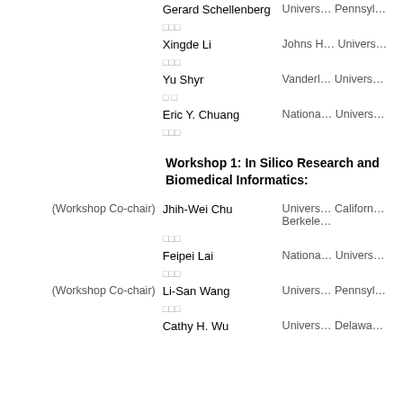Gerard Schellenberg — University of Pennsylvania
Xingde Li — Johns Hopkins University
Yu Shyr — Vanderbilt University
Eric Y. Chuang — National University
Workshop 1: In Silico Research and Biomedical Informatics:
(Workshop Co-chair) Jhih-Wei Chu — University of California Berkeley
Feipei Lai — National University
(Workshop Co-chair) Li-San Wang — University of Pennsylvania
Cathy H. Wu — University of Delaware